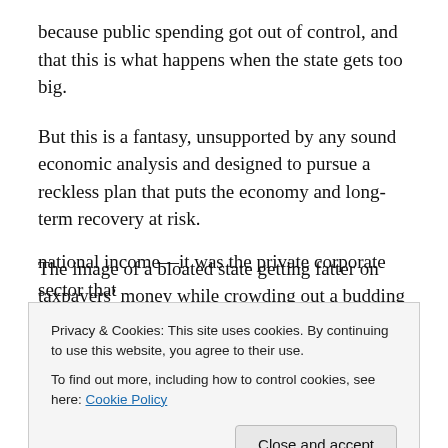because public spending got out of control, and that this is what happens when the state gets too big.
But this is a fantasy, unsupported by any sound economic analysis and designed to pursue a reckless plan that puts the economy and long-term recovery at risk.
The image of a bloated state getting fatter on taxpayers’ money while crowding out a budding private sector is nothing but propaganda, and here’s why: Before the credit crunch, public sector debt was less than 40 per cent of
national income—it was the private corporate sector that [clipped]
[clipped] crowded out by the public sector, not the, is this [clipped]
Privacy & Cookies: This site uses cookies. By continuing to use this website, you agree to their use.
To find out more, including how to control cookies, see here: Cookie Policy